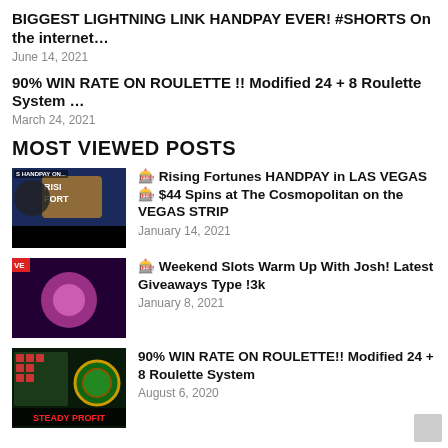BIGGEST LIGHTNING LINK HANDPAY EVER! #SHORTS On the internet…
June 14, 2021
90% WIN RATE ON ROULETTE !! Modified 24 + 8 Roulette System …
March 24, 2021
MOST VIEWED POSTS
[Figure (photo): Thumbnail: Rising Fortunes HANDPAY slot machine, man in black shirt, JACKPOT label]
🎰 Rising Fortunes HANDPAY in LAS VEGAS 🎰 $44 Spins at The Cosmopolitan on the VEGAS STRIP
January 14, 2021
[Figure (photo): Thumbnail: Weekend Slots Warm Up With Josh colorful slot game screenshot]
🎰 Weekend Slots Warm Up With Josh! Latest Giveaways Type !3k
January 8, 2021
[Figure (photo): Thumbnail: Roulette table with STEADY PROFIT text overlay]
90% WIN RATE ON ROULETTE!! Modified 24 + 8 Roulette System
August 6, 2020